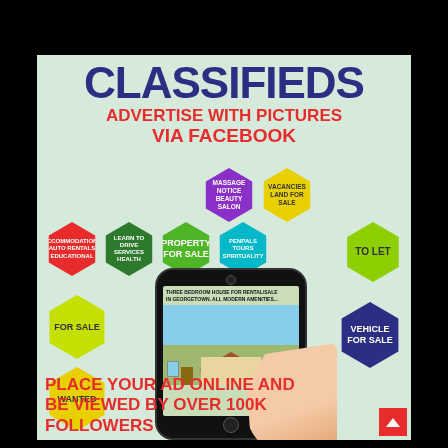CLASSIFIEDS
ADVERTISE WITH PICTURES VIA FACEBOOK
[Figure (infographic): Classified ads infographic with hexagonal category badges including MASSAGE NOTICE BEAUTY SALON, VACANCIES LAND FOR SALE, ACCOMMODATIONS AUTO RENTALS EDUCATIONAL, LEARN TO DRIVE SERVICES HEALTH, PROPERTY FOR SALE, PENPALS TOURS SPIRITUALITY, TO LET, FOR SALE, WANTED, VEHICLE FOR SALE, plus a hand holding a smartphone showing a house for sale listing]
PLACE YOUR AD ONLINE AND BE VIEWED BY OVER 100K FOLLOWERS